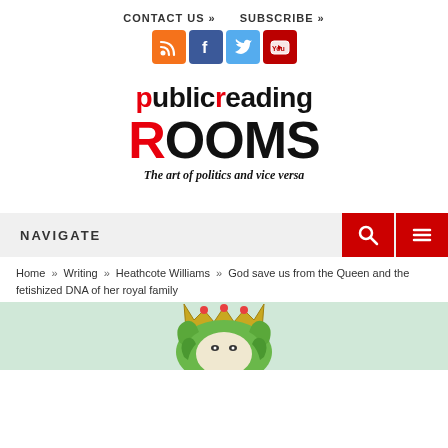CONTACT US »   SUBSCRIBE »
[Figure (logo): Social media icons: RSS (orange), Facebook (blue), Twitter (light blue), YouTube (red)]
[Figure (logo): Public Reading Rooms logo — 'publicreading' in mixed red/black bold text, 'ROOMS' in large bold black with red R, tagline 'The art of politics and vice versa']
NAVIGATE
Home » Writing » Heathcote Williams » God save us from the Queen and the fetishized DNA of her royal family
[Figure (illustration): Illustrated portrait of a crowned figure with green curly hair, partially visible at bottom of page]